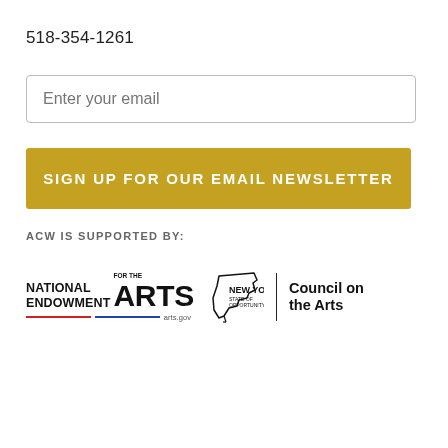518-354-1261
Enter your email
SIGN UP FOR OUR EMAIL NEWSLETTER
ACW IS SUPPORTED BY:
[Figure (logo): National Endowment for the Arts logo with arts.gov text and red/blue striped underline]
[Figure (logo): New York State of Opportunity Council on the Arts logo with NY state map outline]